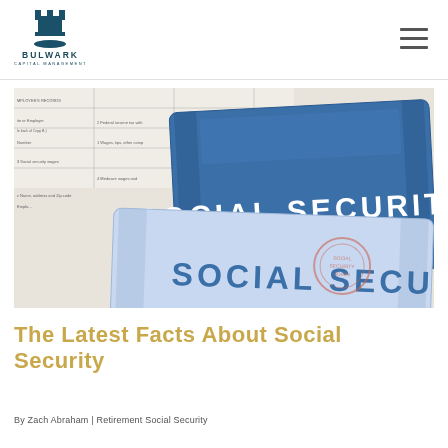BULWARK CAPITAL MANAGEMENT
[Figure (photo): Photo of Social Security cards overlaid on a W-2 tax form showing figures like 114772.36, 91236.94, 3858.33, 2161.95]
The Latest Facts About Social Security
By Zach Abraham | Retirement Social Security